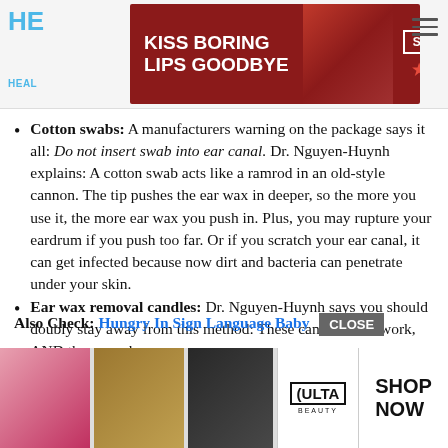HE HEALTH [with Macy's advertisement: KISS BORING LIPS GOODBYE SHOP NOW *macy's]
Cotton swabs: A manufacturers warning on the package says it all: Do not insert swab into ear canal. Dr. Nguyen-Huynh explains: A cotton swab acts like a ramrod in an old-style cannon. The tip pushes the ear wax in deeper, so the more you use it, the more ear wax you push in. Plus, you may rupture your eardrum if you push too far. Or if you scratch your ear canal, it can get infected because now dirt and bacteria can penetrate under your skin.
Ear wax removal candles: Dr. Nguyen-Huynh says you should doubly stay away from this method: These candles dont work, AND they may burn you.
Also Check: Hungry In Sign Language Baby [CLOSE button]
[Figure (photo): Bottom advertisement banner showing makeup/beauty images and ULTA beauty logo with SHOP NOW text]
Ho...